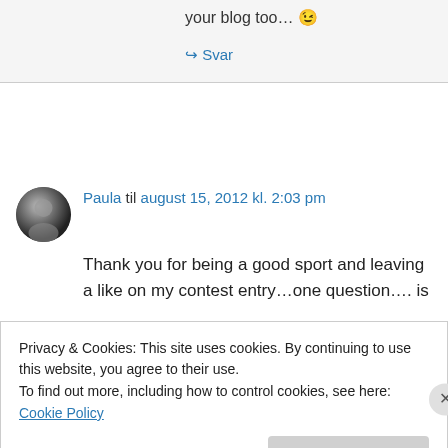your blog too… 😉
↪ Svar
Paula til august 15, 2012 kl. 2:03 pm
Thank you for being a good sport and leaving a like on my contest entry…one question…. is
Privacy & Cookies: This site uses cookies. By continuing to use this website, you agree to their use.
To find out more, including how to control cookies, see here: Cookie Policy
Luk og acceptér